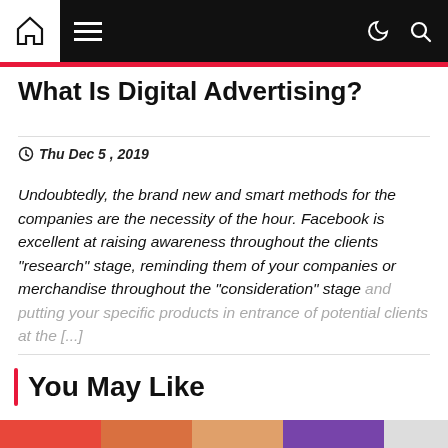What Is Digital Advertising?
Thu Dec 5 , 2019
Undoubtedly, the brand new and smart methods for the companies are the necessity of the hour. Facebook is excellent at raising awareness throughout the clients "research" stage, reminding them of your companies or merchandise throughout the "consideration" stage and putting your specific products in entrance of potential clients at the [...]
You May Like